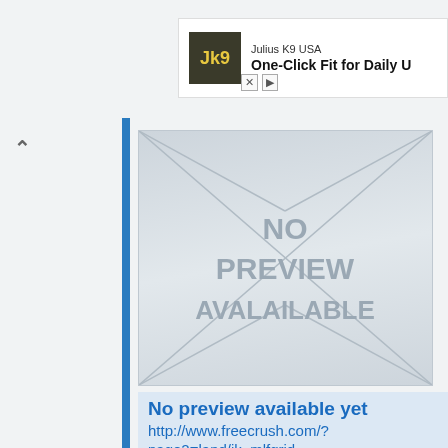[Figure (screenshot): Advertisement banner for Julius K9 USA showing logo and text 'One-Click Fit for Daily U']
[Figure (illustration): No preview available placeholder image with envelope-style diagonal lines and text 'NO PREVIEW AVALAILABLE']
No preview available yet
http://www.freecrush.com/?page2=land/jk_mlfgrid
I am Interested In. Men. Women. By proceeding I certify I am 18 years or older